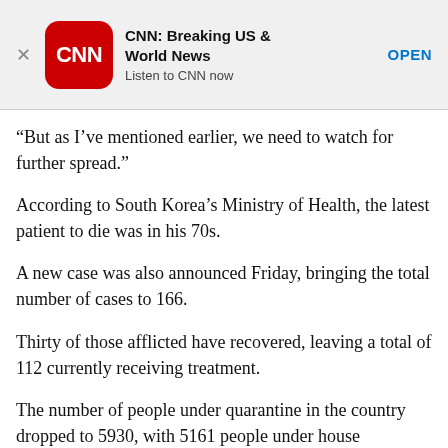[Figure (screenshot): CNN Breaking US & World News app advertisement banner with CNN red rounded-square logo, app name, tagline 'Listen to CNN now', and OPEN button]
“But as I’ve mentioned earlier, we need to watch for further spread.”
According to South Korea’s Ministry of Health, the latest patient to die was in his 70s.
A new case was also announced Friday, bringing the total number of cases to 166.
Thirty of those afflicted have recovered, leaving a total of 112 currently receiving treatment.
The number of people under quarantine in the country dropped to 5930, with 5161 people under house quarantine and 769 quarantined in facilities.